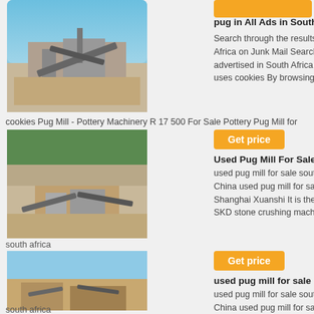[Figure (photo): Industrial mining/crushing plant machinery with conveyor belts against blue sky]
pug in All Ads in South Africa
Search through the results for pug in All Ads in South Africa on Junk Mail Search through all items advertised in South Africa on Junk Mail uses cookies By browsing this site cookies Pug Mill - Pottery Machinery R 17 500 For Sale Pottery Pug Mill for
[Figure (photo): Mining quarry with crushing equipment and earthworks]
Get price
Used Pug Mill For Sale South a
used pug mill for sale south afric China used pug mill for sale sout Shanghai Xuanshi It is the main SKD stone crushing machine pro
south africa
[Figure (photo): Open cast mining site with machinery and mountains in background]
Get price
used pug mill for sale south af
used pug mill for sale south afric China used pug mill for sale sout Shanghai Xuanshi It is the main XSM stone crushing machine pro
south africa